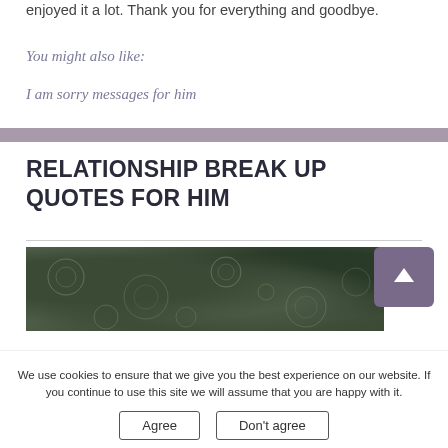enjoyed it a lot. Thank you for everything and goodbye.
You might also like:
I am sorry messages for him
RELATIONSHIP BREAK UP QUOTES FOR HIM
[Figure (photo): Rainy water surface with ripples and rain drops, dark greenish tones]
We use cookies to ensure that we give you the best experience on our website. If you continue to use this site we will assume that you are happy with it.
Agree   Don't agree